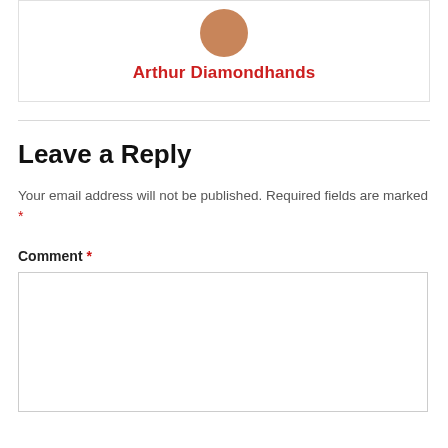[Figure (photo): User avatar thumbnail for Arthur Diamondhands]
Arthur Diamondhands
Leave a Reply
Your email address will not be published. Required fields are marked *
Comment *